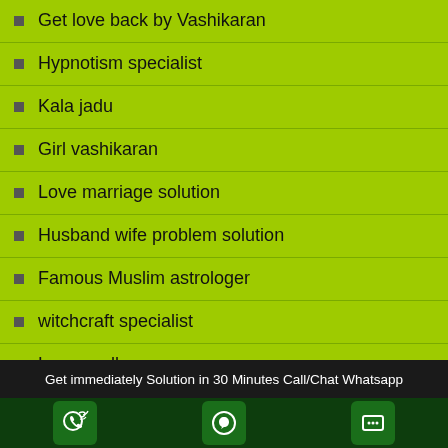Get love back by Vashikaran
Hypnotism specialist
Kala jadu
Girl vashikaran
Love marriage solution
Husband wife problem solution
Famous Muslim astrologer
witchcraft specialist
Love spells
Muslim vashikaran specialist
Wazaif for marriage
Islamic vashikaran mantra
Muslim tantra mantra
Get immediately Solution in 30 Minutes Call/Chat Whatsapp
[Figure (illustration): Three icon buttons: phone call icon, WhatsApp icon, and chat/message icon on dark green background]